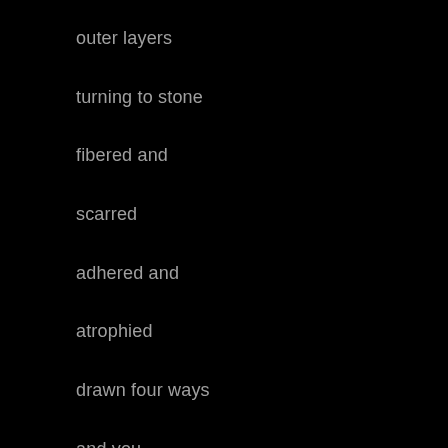outer layers
turning to stone
fibered and
scarred
adhered and
atrophied
drawn four ways
and you